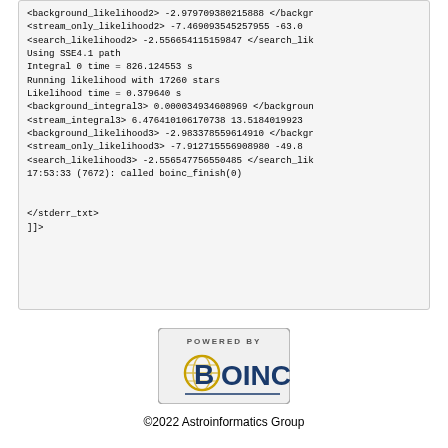<background_likelihood2> -2.979709380215888 </backgr
<stream_only_likelihood2>  -7.469093545257955  -63.0
<search_likelihood2> -2.556654115159847 </search_lik
Using SSE4.1 path
Integral 0 time = 826.124553 s
Running likelihood with 17260 stars
Likelihood time = 0.379640 s
<background_integral3> 0.000034934608969 </backgroun
<stream_integral3>  6.476410106170738  13.5184019923
<background_likelihood3> -2.983378559614910 </backgr
<stream_only_likelihood3>  -7.912715556908980  -49.8
<search_likelihood3> -2.556547756550485 </search_lik
17:53:33 (7672): called boinc_finish(0)

</stderr_txt>
]]>
[Figure (logo): Powered by BOINC logo - rectangular badge with BOINC text and globe icon]
©2022 Astroinformatics Group